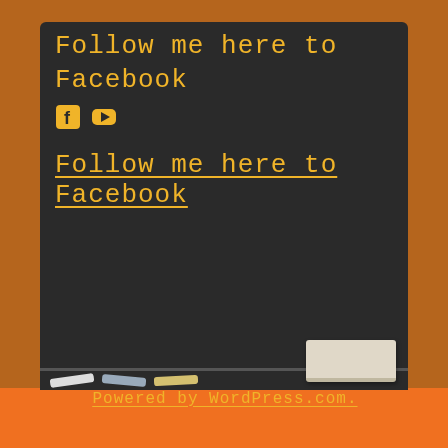[Figure (illustration): Chalkboard-themed webpage screenshot showing a dark chalkboard with wooden frame and orange bar at the bottom, chalk tray with chalk pieces and an eraser.]
Follow me here to Facebook
[Facebook icon] [YouTube icon]
Follow me here to Facebook
Powered by WordPress.com.